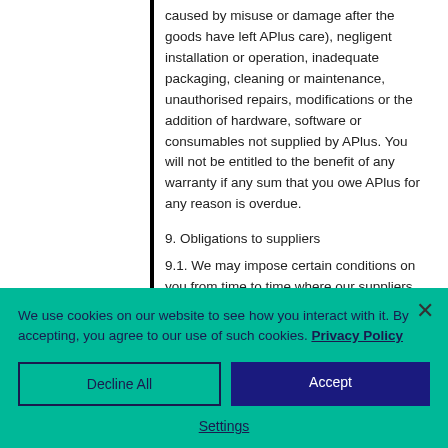caused by misuse or damage after the goods have left APlus care), negligent installation or operation, inadequate packaging, cleaning or maintenance, unauthorised repairs, modifications or the addition of hardware, software or consumables not supplied by APlus. You will not be entitled to the benefit of any warranty if any sum that you owe APlus for any reason is overdue.
9. Obligations to suppliers
9.1. We may impose certain conditions on you from time to time where our suppliers require us
We use cookies on our website to see how you interact with it. By accepting, you agree to our use of such cookies. Privacy Policy